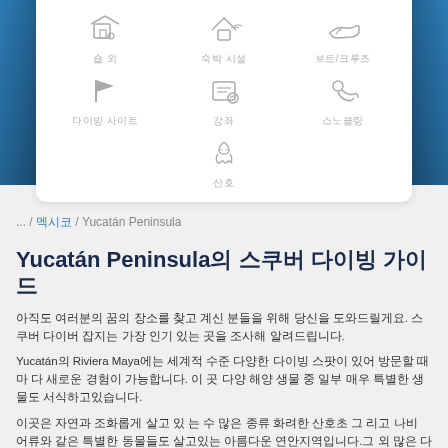[Figure (infographic): Icon grid with 7 categories: 숍 외 (shop icon), 숙박 시설 (house icon), 보트/크루즈 (boat icon), 다이빙 사이트 (flag icon), 강좌 (certificate icon), 스노클링 (snorkeling icon), 산호 (coral icon)]
... / 멕시코 / Yucatán Peninsula
Yucatán Peninsula의 스쿠버 다이빙 가이드
아직도 여러분의 꿈의 장소를 찾고 계신 분들을 위해 당신을 도와드릴게요. 스쿠버 다이버 잡지는 가장 인기 있는 곳을 조사해 알려드립니다.
Yucatán의 Riviera Maya에는 세계적 수준 다양한 다이빙 스팟이 있어 방문할 때 마 다 새로운 경험이 가능합니다. 이 곳 다양 해양 생물 중 일부 매우 특별한 생물도 서식하고있습니다.
이곳은 자연과 조화롭게 살고 있 는 수 많은 종류 화려한 산호초 그 리고 나비 어류와 같은 특별한 동물들도 살고있는 아름다운 연안지역입니다.그 외 많은 다양 다이빙 사이트와 전세계적 다이비들이 찾게됩니다.